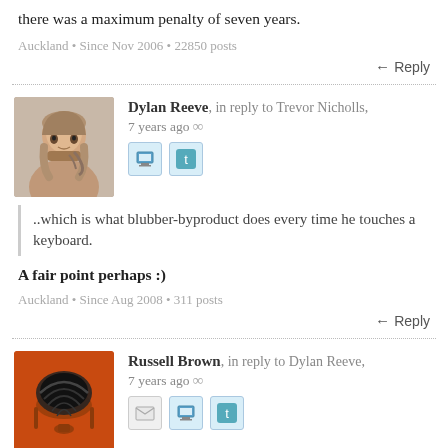there was a maximum penalty of seven years.
Auckland • Since Nov 2006 • 22850 posts
Reply
Dylan Reeve, in reply to Trevor Nicholls, 7 years ago ∞
..which is what blubber-byproduct does every time he touches a keyboard.
A fair point perhaps :)
Auckland • Since Aug 2008 • 311 posts
Reply
Russell Brown, in reply to Dylan Reeve, 7 years ago ∞
If the police chose not to investigate this high-profile case what precedent would that set?
Could you point me to the people in the thread who are saying the complaint shouldn't have been